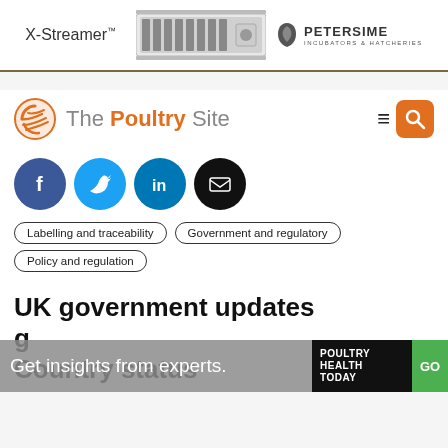[Figure (photo): Petersime X-Streamer incubator/hatchery advertisement banner with machine photo and logo]
[Figure (logo): The Poultry Site logo with orange globe icon, navigation hamburger menu, and orange search button]
[Figure (infographic): Social media share icons: Facebook (blue), Twitter (light blue), LinkedIn (teal), Email (black), all circular]
Labelling and traceability
Government and regulatory
Policy and regulation
UK government updates guide...
Get insights from experts.
[Figure (logo): Poultry Health Today GO banner overlay]